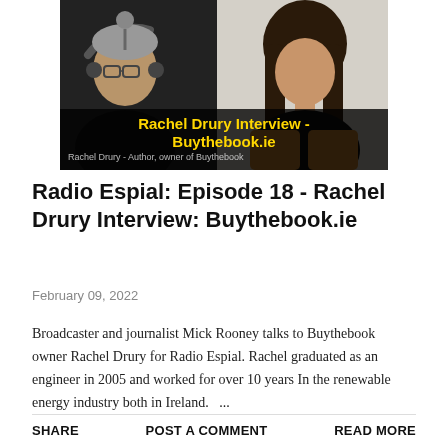[Figure (screenshot): Video thumbnail showing two people on a split screen. Left: a man wearing headphones and glasses. Right: a woman with long dark hair in a black turtleneck and mustard-colored cardigan. Overlay text reads 'Rachel Drury Interview - Buythebook.ie' in bold yellow, with subtitle 'Rachel Drury - Author, owner of Buythebook' in white.]
Radio Espial: Episode 18 - Rachel Drury Interview: Buythebook.ie
February 09, 2022
Broadcaster and journalist Mick Rooney talks to Buythebook owner Rachel Drury for Radio Espial. Rachel graduated as an engineer in 2005 and worked for over 10 years In the renewable energy industry both in Ireland. ...
SHARE   POST A COMMENT   READ MORE